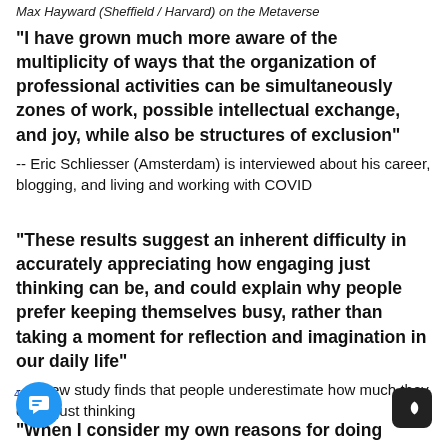Max Hayward (Sheffield / Harvard) on the Metaverse
“I have grown much more aware of the multiplicity of ways that the organization of professional activities can be simultaneously zones of work, possible intellectual exchange, and joy, while also be structures of exclusion”
-- Eric Schliesser (Amsterdam) is interviewed about his career, blogging, and living and working with COVID
“These results suggest an inherent difficulty in accurately appreciating how engaging just thinking can be, and could explain why people prefer keeping themselves busy, rather than taking a moment for reflection and imagination in our daily life”
-- a new study finds that people underestimate how much they enjoy just thinking
“When I consider my own reasons for doing